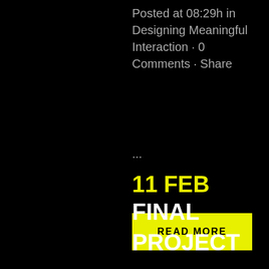Posted at 08:29h in Designing Meaningful Interaction · 0 Comments · Share
...
READ MORE
11 FEB FINAL PROJECT